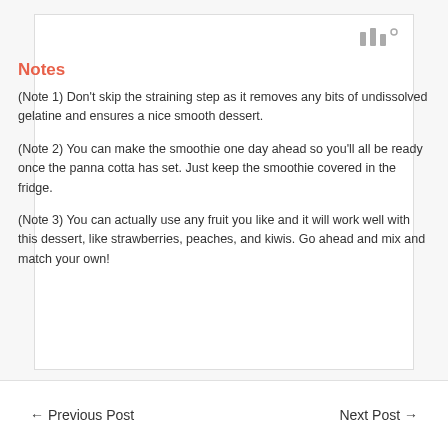[Figure (logo): Small grey logo/icon with three vertical bar-like shapes and a small superscript circle]
Notes
(Note 1) Don't skip the straining step as it removes any bits of undissolved gelatine and ensures a nice smooth dessert.
(Note 2) You can make the smoothie one day ahead so you'll all be ready once the panna cotta has set. Just keep the smoothie covered in the fridge.
(Note 3) You can actually use any fruit you like and it will work well with this dessert, like strawberries, peaches, and kiwis. Go ahead and mix and match your own!
← Previous Post    Next Post →